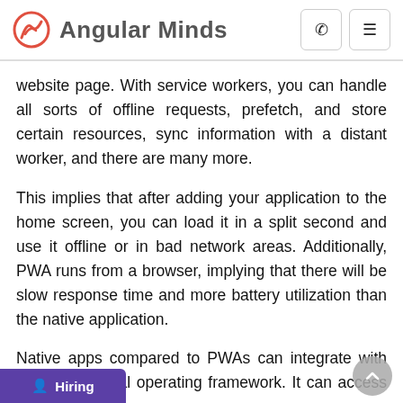Angular Minds
website page. With service workers, you can handle all sorts of offline requests, prefetch, and store certain resources, sync information with a distant worker, and there are many more.
This implies that after adding your application to the home screen, you can load it in a split second and use it offline or in bad network areas. Additionally, PWA runs from a browser, implying that there will be slow response time and more battery utilization than the native application.
Native apps compared to PWAs can integrate with the fundamental operating framework. It can access device equipment to accomplish more computations and serve